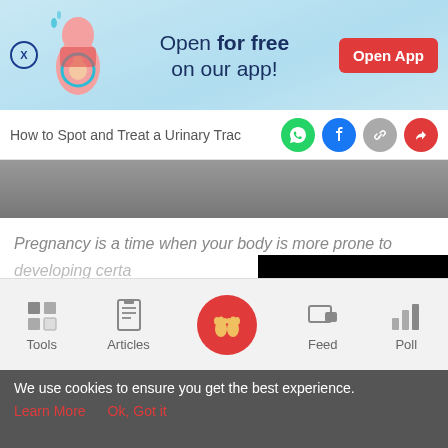[Figure (screenshot): App advertisement banner with close button, pregnant woman illustration, 'Open for free on our app!' text, and 'Open App' red button]
How to Spot and Treat a Urinary Trac
[Figure (photo): Partial hero image strip showing a dark clothing/background]
Pregnancy is a time when your body is more prone to developing certa
[Figure (other): Black overlay rectangle covering right portion of content area]
9 min read
[Figure (screenshot): Bottom navigation bar with Tools, Articles, center baby feet icon, Feed, and Poll buttons]
We use cookies to ensure you get the best experience.
Learn More   Ok, Got it